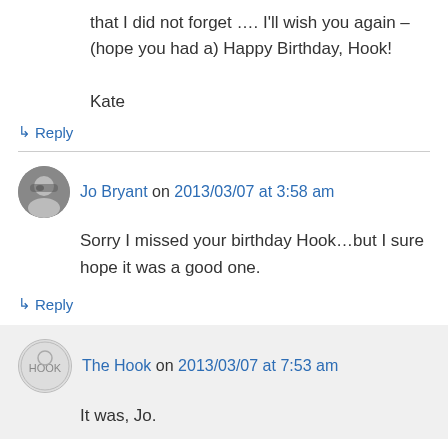that I did not forget …. I'll wish you again – (hope you had a) Happy Birthday, Hook!

Kate
↳ Reply
Jo Bryant on 2013/03/07 at 3:58 am
Sorry I missed your birthday Hook…but I sure hope it was a good one.
↳ Reply
The Hook on 2013/03/07 at 7:53 am
It was, Jo.